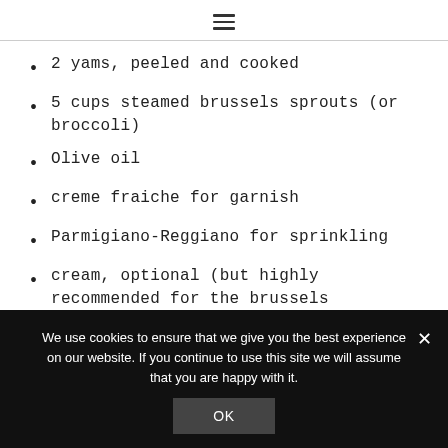≡
2 yams, peeled and cooked
5 cups steamed brussels sprouts (or broccoli)
Olive oil
creme fraiche for garnish
Parmigiano-Reggiano for sprinkling
cream, optional (but highly recommended for the brussels sprouts)
We use cookies to ensure that we give you the best experience on our website. If you continue to use this site we will assume that you are happy with it.
OK